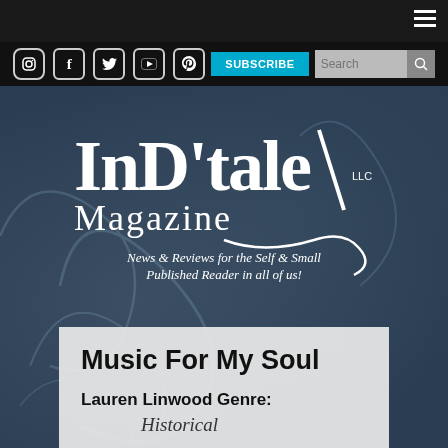InD'tale Magazine - Navigation bar with hamburger menu
Social icons: Instagram, Facebook, Twitter, YouTube, Pinterest | SUBSCRIBE | Search
[Figure (logo): InD'tale Magazine LLC logo - white stylized text with pen stroke, tagline: News & Reviews for the Self & Small Published Reader in all of us!]
Music For My Soul
Lauren Linwood Genre:
Historical